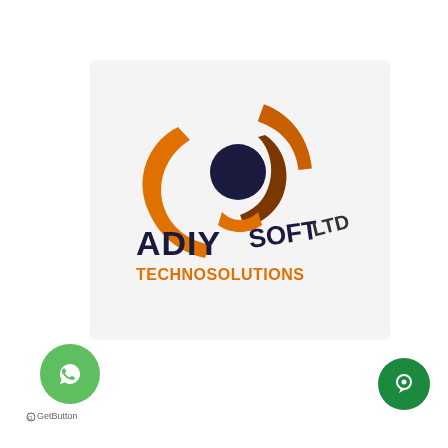[Figure (logo): Adiysoft Technologies logo with orange and dark navy lettering and abstract circular icon in orange and dark colors]
[Figure (other): WhatsApp floating button (green circle with phone/chat icon) in bottom-left corner]
GetButton
[Figure (other): Green chat/messenger button in bottom-right corner]